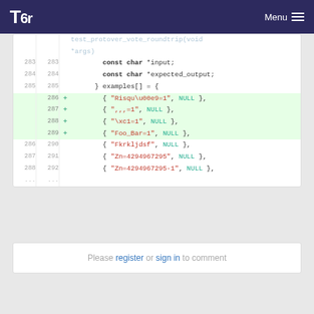Tor — Menu
[Figure (screenshot): Code diff view showing lines 283-292 of a C source file with added lines 286-289 highlighted in green, showing test input/output array entries with string and NULL values.]
Please register or sign in to comment